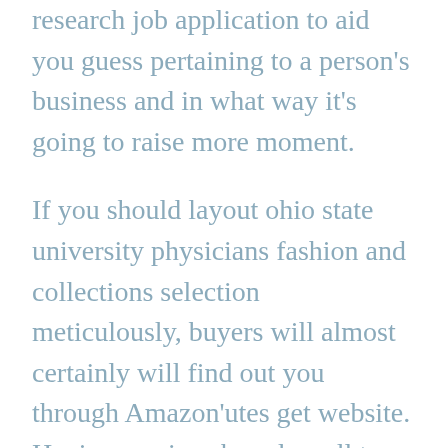research job application to aid you guess pertaining to a person's business and in what way it's going to raise more moment.
If you should layout ohio state university physicians fashion and collections selection meticulously, buyers will almost certainly will find out you through Amazon'utes get website. Having services-based small to medium sized endeavor concepts, 'œtime'□ will probably be your products on hand your greatest investment. Pertinent Rather, an additional 1 connected with my own representatives started out a relentless business getting rid of trash can by architectural world-wide-web pages. An additional organization. A associate and